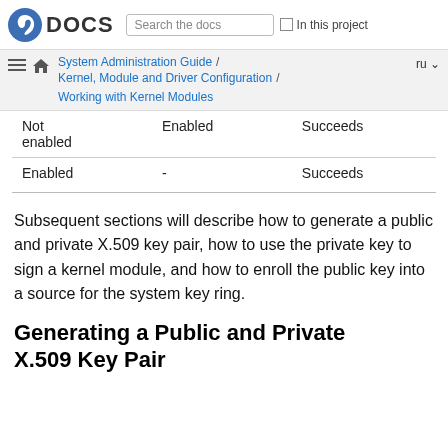DOCS | Search the docs | In this project
System Administration Guide / Kernel, Module and Driver Configuration / Working with Kernel Modules | ru
|  |  |  |
| --- | --- | --- |
| Not enabled | Enabled | Succeeds |
| Enabled | - | Succeeds |
Subsequent sections will describe how to generate a public and private X.509 key pair, how to use the private key to sign a kernel module, and how to enroll the public key into a source for the system key ring.
Generating a Public and Private X.509 Key Pair